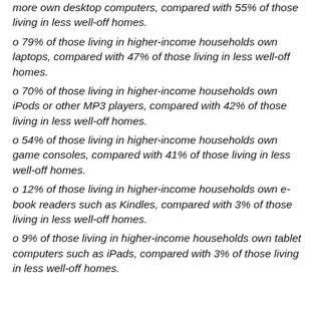more own desktop computers, compared with 55% of those living in less well-off homes.
79% of those living in higher-income households own laptops, compared with 47% of those living in less well-off homes.
70% of those living in higher-income households own iPods or other MP3 players, compared with 42% of those living in less well-off homes.
54% of those living in higher-income households own game consoles, compared with 41% of those living in less well-off homes.
12% of those living in higher-income households own e-book readers such as Kindles, compared with 3% of those living in less well-off homes.
9% of those living in higher-income households own tablet computers such as iPads, compared with 3% of those living in less well-off homes.